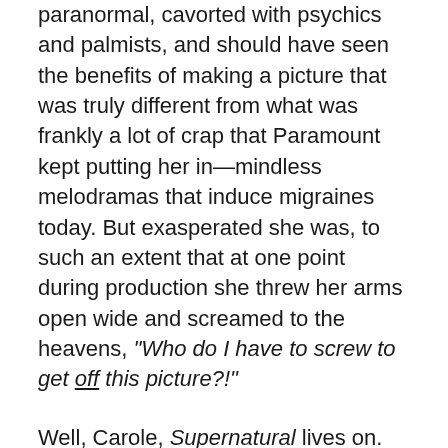paranormal, cavorted with psychics and palmists, and should have seen the benefits of making a picture that was truly different from what was frankly a lot of crap that Paramount kept putting her in—mindless melodramas that induce migraines today. But exasperated she was, to such an extent that at one point during production she threw her arms open wide and screamed to the heavens, "Who do I have to screw to get off this picture?!"
Well, Carole, Supernatural lives on. Brother does it. Your mug made the cover of the Heritage auction catalog and the fact that the Supernatural one sheet, complete with your staring eyes and a pair of glowing, shadowy brow ridges that would make any gorilla proud, will hit the news in collecting circles for the fact that this poster cracked a hundred-grand and comfortably so. You might as well grin and bear it, baby. You have made the news in 2017.